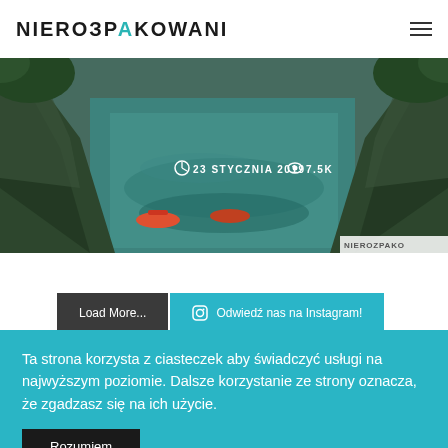NIEROZPAKOWANI
[Figure (photo): Aerial view of a river gorge with inflatable boats and lush green rocky cliffs. Date and view count overlay: 23 STYCZNIA 2019, 7.5K. Watermark: NIEROZPAKO...]
Load More...
Odwiedź nas na Instagram!
Ta strona korzysta z ciasteczek aby świadczyć usługi na najwyższym poziomie. Dalsze korzystanie ze strony oznacza, że zgadzasz się na ich użycie.
Rozumiem